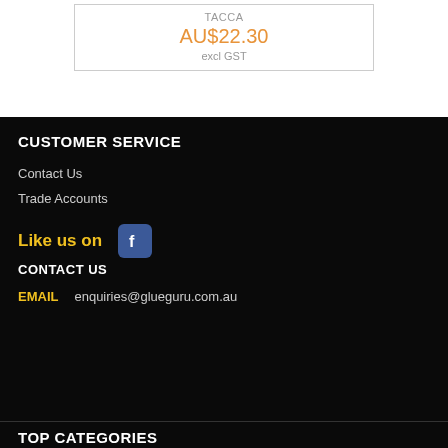TACCA
AU$22.30
excl GST
CUSTOMER SERVICE
Contact Us
Trade Accounts
Like us on [Facebook icon]
CONTACT US
EMAIL     enquiries@glueguru.com.au
TOP CATEGORIES